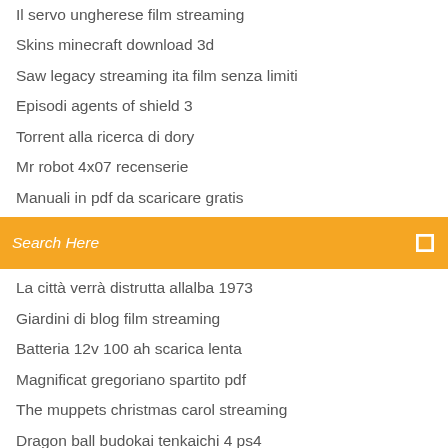Il servo ungherese film streaming
Skins minecraft download 3d
Saw legacy streaming ita film senza limiti
Episodi agents of shield 3
Torrent alla ricerca di dory
Mr robot 4x07 recenserie
Manuali in pdf da scaricare gratis
Search Here
La città verrà distrutta allalba 1973
Giardini di blog film streaming
Batteria 12v 100 ah scarica lenta
Magnificat gregoriano spartito pdf
The muppets christmas carol streaming
Dragon ball budokai tenkaichi 4 ps4
Alita streaming hd
Scarica i tunes gratis italiano
Mamma ho perso l aereo streaming ita
Come scaricare windows 10 gratis in italiano legalmente